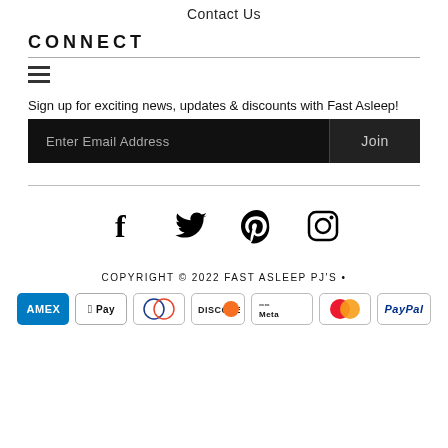Contact Us
CONNECT
[Figure (other): Hamburger menu icon (three horizontal lines)]
Sign up for exciting news, updates & discounts with Fast Asleep!
Enter Email Address | Join
[Figure (other): Social media icons: Facebook, Twitter, Pinterest, Instagram]
COPYRIGHT © 2022 FAST ASLEEP PJ'S •
[Figure (other): Payment method badges: AMEX, Apple Pay, Diners Club, Discover, Meta Pay, Mastercard, PayPal, Shopify, Visa]